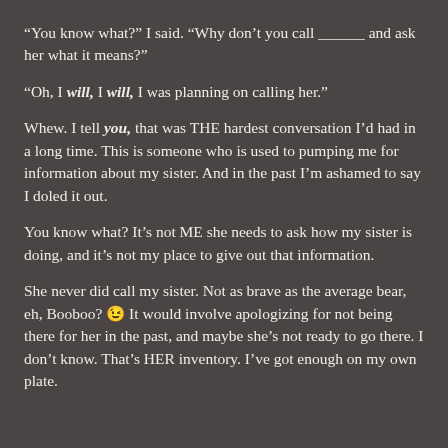“You know what?” I said. “Why don’t you call ______ and ask her what it means?”
“Oh, I will, I will, I was planning on calling her.”
Whew. I tell you, that was THE hardest conversation I’d had in a long time. This is someone who is used to pumping me for information about my sister. And in the past I’m ashamed to say I doled it out.
You know what? It’s not ME she needs to ask how my sister is doing, and it’s not my place to give out that information.
She never did call my sister. Not as brave as the average bear, eh, Booboo? 😉 It would involve apologizing for not being there for her in the past, and maybe she’s not ready to go there. I don’t know. That’s HER inventory. I’ve got enough on my own plate.